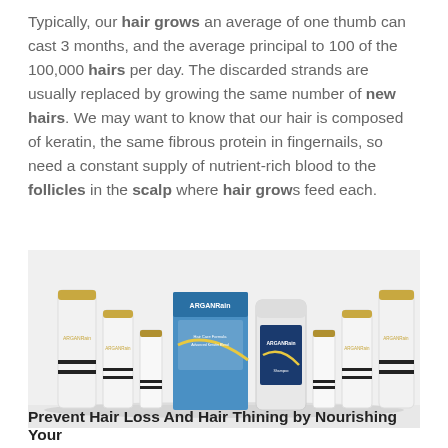Typically, our hair grows an average of one thumb can cast 3 months, and the average principal to 100 of the 100,000 hairs per day. The discarded strands are usually replaced by growing the same number of new hairs. We may want to know that our hair is composed of keratin, the same fibrous protein in fingernails, so need a constant supply of nutrient-rich blood to the follicles in the scalp where hair grows feed each.
[Figure (photo): A collection of ARGANRain hair care products including white bottles with gold caps, a blue product box labeled ARGANRain, and a shampoo bottle, arranged together on a light surface.]
Prevent Hair Loss And Hair Thining by Nourishing Your